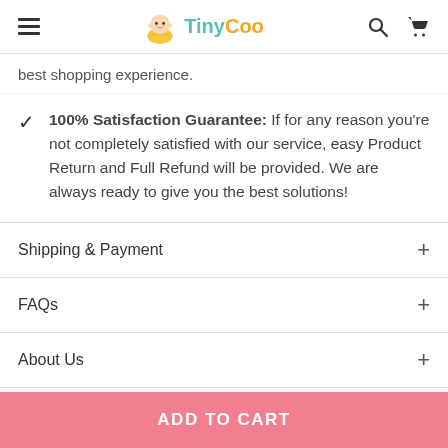TinyCoo
best shopping experience.
100% Satisfaction Guarantee: If for any reason you're not completely satisfied with our service, easy Product Return and Full Refund will be provided. We are always ready to give you the best solutions!
Shipping & Payment
FAQs
About Us
ADD TO CART